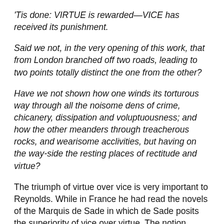'Tis done: VIRTUE is rewarded—VICE has received its punishment.
Said we not, in the very opening of this work, that from London branched off two roads, leading to two points totally distinct the one from the other?
Have we not shown how one winds its torturous way through all the noisome dens of crime, chicanery, dissipation and voluptuousness; and how the other meanders through treacherous rocks, and wearisome acclivities, but having on the way-side the resting places of rectitude and virtue?
The triumph of virtue over vice is very important to Reynolds. While in France he had read the novels of the Marquis de Sade in which de Sade posits the superiority of vice over virtue. The notion mortally offended Reynolds